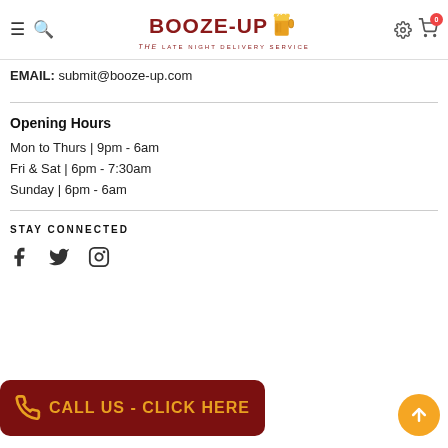Booze-Up The Late Night Delivery Service
EMAIL: submit@booze-up.com
Opening Hours
Mon to Thurs | 9pm - 6am
Fri & Sat | 6pm - 7:30am
Sunday | 6pm - 6am
STAY CONNECTED
[Figure (illustration): Social media icons: Facebook, Twitter, Instagram]
[Figure (illustration): Dark red rounded button with phone icon and text CALL US - CLICK HERE in gold]
[Figure (illustration): Orange circular back-to-top button with upward arrow]